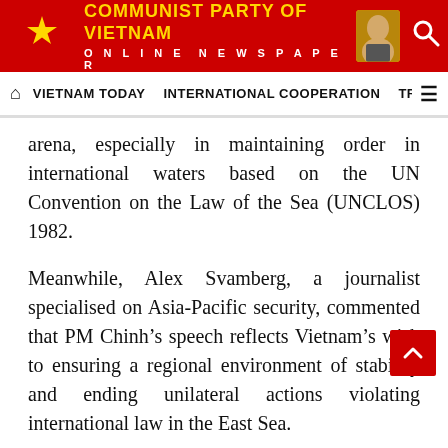COMMUNIST PARTY OF VIETNAM ONLINE NEWSPAPER
VIETNAM TODAY | INTERNATIONAL COOPERATION | TRAD
arena, especially in maintaining order in international waters based on the UN Convention on the Law of the Sea (UNCLOS) 1982.
Meanwhile, Alex Svamberg, a journalist specialised on Asia-Pacific security, commented that PM Chinh’s speech reflects Vietnam’s wish to ensuring a regional environment of stability and ending unilateral actions violating international law in the East Sea.
According to Svamberg, the EU is showing its increasing interest in ensuring maritime freedom